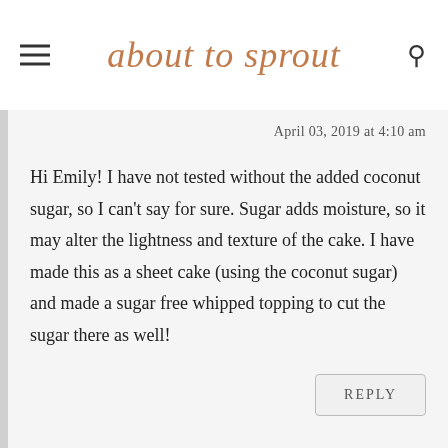about to sprout
April 03, 2019 at 4:10 am
Hi Emily! I have not tested without the added coconut sugar, so I can't say for sure. Sugar adds moisture, so it may alter the lightness and texture of the cake. I have made this as a sheet cake (using the coconut sugar) and made a sugar free whipped topping to cut the sugar there as well!
REPLY